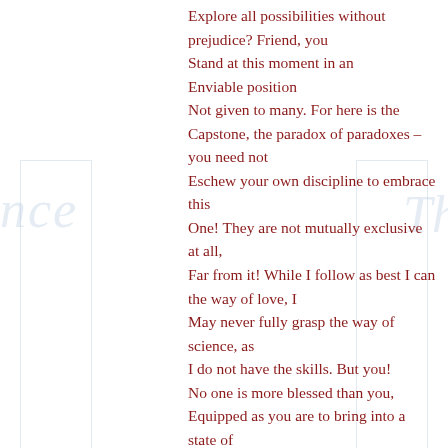Explore all possibilities without prejudice? Friend, you
Stand at this moment in an
Enviable position
Not given to many. For here is the
Capstone, the paradox of paradoxes – you need not
Eschew your own discipline to embrace this
One! They are not mutually exclusive at all,
Far from it! While I follow as best I can the way of love, I
May never fully grasp the way of science, as
I do not have the skills. But you!
No one is more blessed than you,
Equipped as you are to bring into a state of
Equipoise mystical science and the science of mysticism.
Not in opposition, though they may appear to be, but two
Estranged perspectives meeting at the point of paradox,